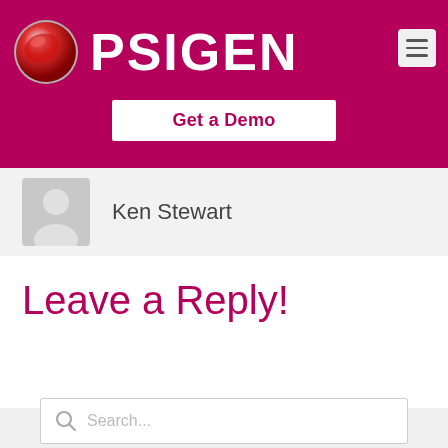[Figure (logo): PSIGEN logo with red globe icon and white PSIGEN text on magenta/crimson background, with hamburger menu icon top right and Get a Demo button]
Ken Stewart
Leave a Reply!
[Figure (other): Search box with magnifying glass icon and placeholder text 'Search...']